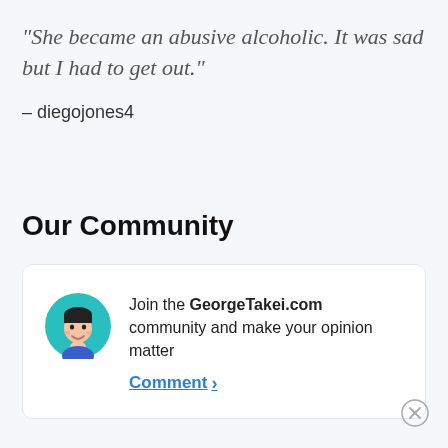"She became an abusive alcoholic. It was sad but I had to get out."
– diegojones4
Our Community
[Figure (infographic): Community card with avatar illustration of a man and text: Join the GeorgeTakei.com community and make your opinion matter. Comment > link.]